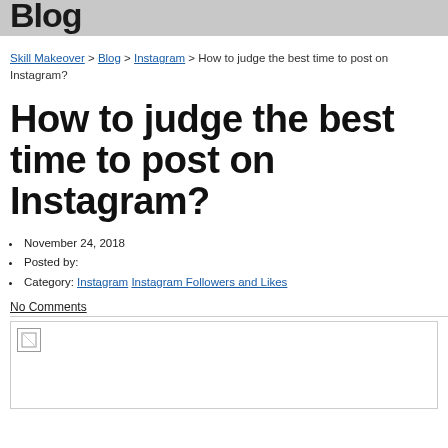Blog
Skill Makeover > Blog > Instagram > How to judge the best time to post on Instagram?
How to judge the best time to post on Instagram?
November 24, 2018
Posted by:
Category: Instagram Instagram Followers and Likes
No Comments
[Figure (photo): Broken image placeholder at top-left of image area]